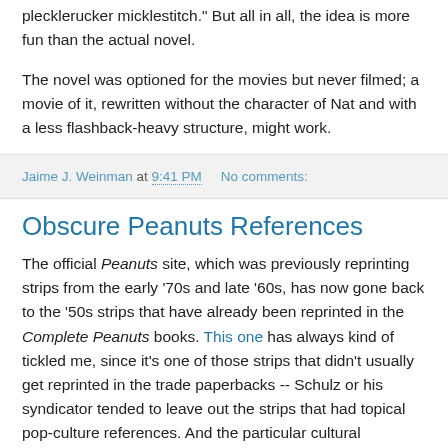plecklerucker micklestitch." But all in all, the idea is more fun than the actual novel.
The novel was optioned for the movies but never filmed; a movie of it, rewritten without the character of Nat and with a less flashback-heavy structure, might work.
Jaime J. Weinman at 9:41 PM   No comments:
Obscure Peanuts References
The official Peanuts site, which was previously reprinting strips from the early '70s and late '60s, has now gone back to the '50s strips that have already been reprinted in the Complete Peanuts books. This one has always kind of tickled me, since it's one of those strips that didn't usually get reprinted in the trade paperbacks -- Schulz or his syndicator tended to leave out the strips that had topical pop-culture references. And the particular cultural reference here, while obscure, is pretty funny; it plays on the fact that "Stardust"